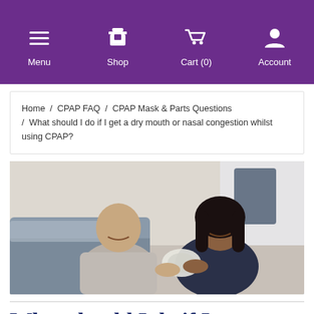Menu  Shop  Cart (0)  Account
Home / CPAP FAQ / CPAP Mask & Parts Questions / What should I do if I get a dry mouth or nasal congestion whilst using CPAP?
[Figure (photo): A man and a woman sitting together, smiling, examining a CPAP mask. The man is in a gray t-shirt, the woman in a dark navy top. They appear to be in a bedroom setting.]
What should I do if I get a dry mouth or nasal